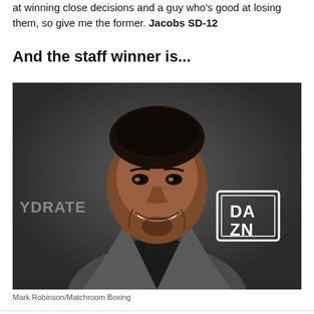at winning close decisions and a guy who's good at losing them, so give me the former. Jacobs SD-12
And the staff winner is...
[Figure (photo): Man smiling at camera, wearing a dark turtleneck and grey jacket, in front of a backdrop with HYDRATE and DAZN logos]
Mark Robinson/Matchroom Boxing